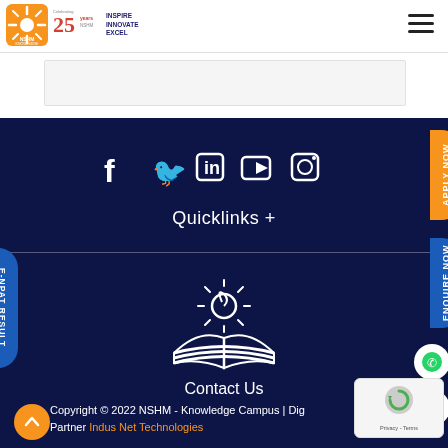NSHM Knowledge Campus - Inspire Innovate Excel
[Figure (logo): NSHM Knowledge Campus logo with orange sun icon and 25 years celebrating badge, text: INSPIRE INNOVATE EXCEL]
Quicklinks +
[Figure (logo): NSHM white sun and book logo on dark navy background]
Contact Us
Copyright © 2022 NSHM - Knowledge Campus | Digital Partner Indus Net Technologies